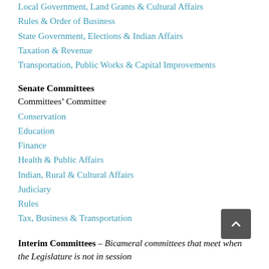Local Government, Land Grants & Cultural Affairs
Rules & Order of Business
State Government, Elections & Indian Affairs
Taxation & Revenue
Transportation, Public Works & Capital Improvements
Senate Committees
Committees’ Committee
Conservation
Education
Finance
Health & Public Affairs
Indian, Rural & Cultural Affairs
Judiciary
Rules
Tax, Business & Transportation
Interim Committees – Bicameral committees that meet when the Legislature is not in session